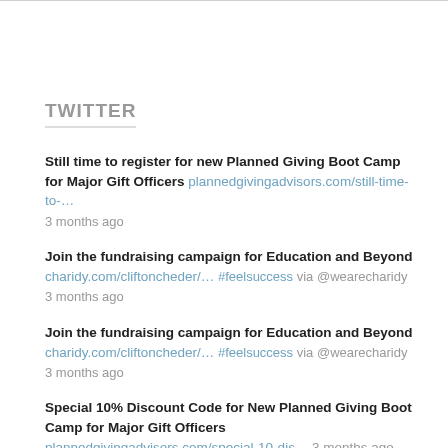TWITTER
Still time to register for new Planned Giving Boot Camp for Major Gift Officers plannedgivingadvisors.com/still-time-to-… 3 months ago
Join the fundraising campaign for Education and Beyond charidy.com/cliftoncheder/… #feelsuccess via @wearecharidy 3 months ago
Join the fundraising campaign for Education and Beyond charidy.com/cliftoncheder/… #feelsuccess via @wearecharidy 3 months ago
Special 10% Discount Code for New Planned Giving Boot Camp for Major Gift Officers plannedgivingadvisors.com/special-10-dis… 3 months ago
New Planned Giving Boot Camp for Major Gift Officers plannedgivingadvisors.com/new-planned-gi… 4 months ago